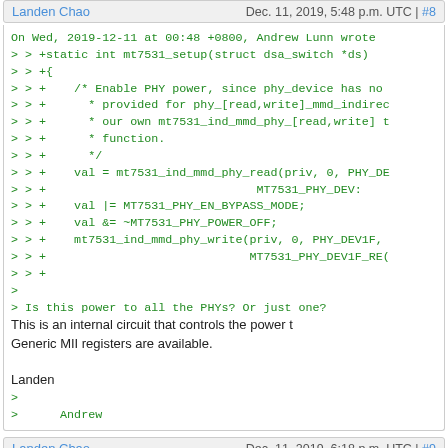Landen Chao   Dec. 11, 2019, 5:48 p.m. UTC | #8
On Wed, 2019-12-11 at 00:48 +0800, Andrew Lunn wrote
> > +static int mt7531_setup(struct dsa_switch *ds)
> > +{
> > +    /* Enable PHY power, since phy_device has no
> > +      * provided for phy_[read,write]_mmd_indirec
> > +      * our own mt7531_ind_mmd_phy_[read,write] t
> > +      * function.
> > +      */
> > +    val = mt7531_ind_mmd_phy_read(priv, 0, PHY_DE
> > +                                  MT7531_PHY_DEV:
> > +    val |= MT7531_PHY_EN_BYPASS_MODE;
> > +    val &= ~MT7531_PHY_POWER_OFF;
> > +    mt7531_ind_mmd_phy_write(priv, 0, PHY_DEV1F,
> > +                              MT7531_PHY_DEV1F_RE(
> > +
>
> Is this power to all the PHYs? Or just one?
This is an internal circuit that controls the power t
Generic MII registers are available.

Landen
>
>       Andrew
Landen Chao   Dec. 11, 2019, 6:18 p.m. UTC | #9
On Wed, 2019-12-11 at 00:44 +0800, Andrew Lunn wrote
> > +static int
> > +mt7531_ind_mmd_phy_read(struct mt7530 priv, *pri